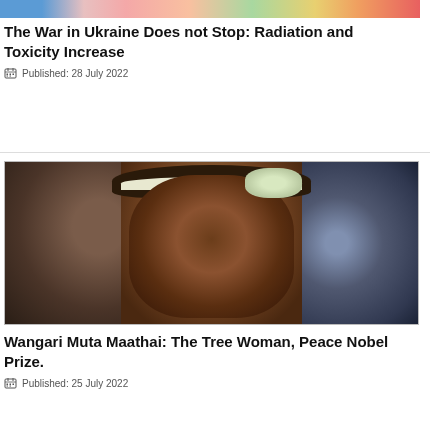[Figure (photo): Decorative colorful banner image at top of page]
The War in Ukraine Does not Stop: Radiation and Toxicity Increase
Published: 28 July 2022
[Figure (photo): Portrait photo of Wangari Muta Maathai smiling, wearing a white headband and flower accessory, with blurred figures on either side]
Wangari Muta Maathai: The Tree Woman, Peace Nobel Prize.
Published: 25 July 2022